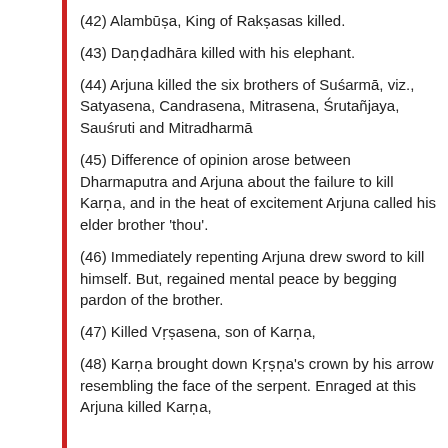(42) Alambusa, King of Raksasas killed.
(43) Dandadhara killed with his elephant.
(44) Arjuna killed the six brothers of Susarma, viz., Satyasena, Candrasena, Mitrasena, Srutanjaya, Sausruti and Mitradharmā
(45) Difference of opinion arose between Dharmaputra and Arjuna about the failure to kill Karna, and in the heat of excitement Arjuna called his elder brother 'thou'.
(46) Immediately repenting Arjuna drew sword to kill himself. But, regained mental peace by begging pardon of the brother.
(47) Killed Vrsasena, son of Karna,
(48) Karna brought down Krsna's crown by his arrow resembling the face of the serpent. Enraged at this Arjuna killed Karna,